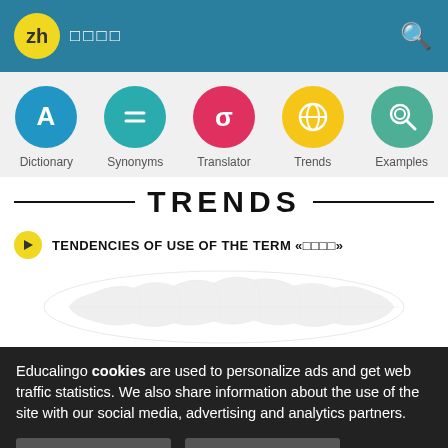zh □□□□
[Figure (infographic): Navigation icon row with 5 colored circles: Dictionary (blue A), Synonyms (teal =), Translator (red sigma), Trends (yellow globe), Examples (green magnifier)]
TRENDS
TENDENCIES OF USE OF THE TERM «□□□□»
[Figure (illustration): Faint world map illustration]
Educalingo cookies are used to personalize ads and get web traffic statistics. We also share information about the use of the site with our social media, advertising and analytics partners.
View details   Got it